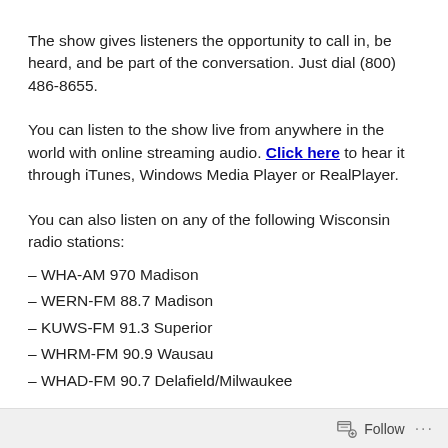The show gives listeners the opportunity to call in, be heard, and be part of the conversation. Just dial (800) 486-8655.
You can listen to the show live from anywhere in the world with online streaming audio. Click here to hear it through iTunes, Windows Media Player or RealPlayer.
You can also listen on any of the following Wisconsin radio stations:
– WHA-AM 970 Madison
– WERN-FM 88.7 Madison
– KUWS-FM 91.3 Superior
– WHRM-FM 90.9 Wausau
– WHAD-FM 90.7 Delafield/Milwaukee
Follow ...